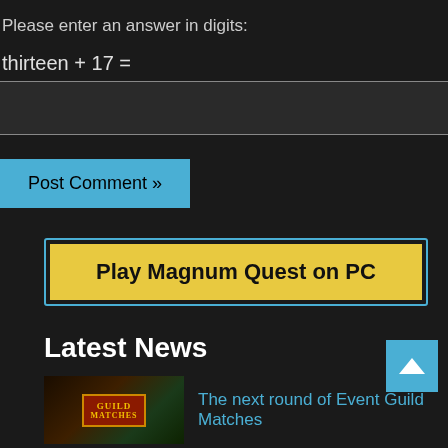Please enter an answer in digits:
[input box]
Post Comment »
[Figure (other): Yellow button with cyan border reading 'Play Magnum Quest on PC']
Latest News
The next round of Event Guild Matches